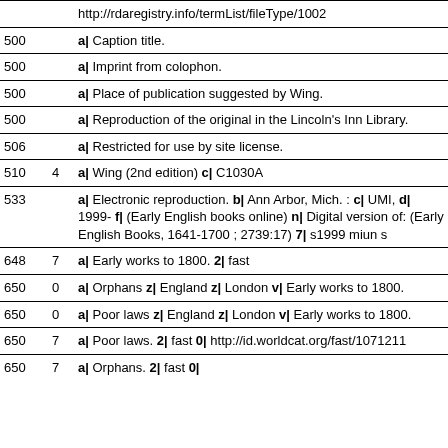| Tag | Ind | Subfields |
| --- | --- | --- |
|  |  | http://rdaregistry.info/termList/fileType/1002 |
| 500 |  | a| Caption title. |
| 500 |  | a| Imprint from colophon. |
| 500 |  | a| Place of publication suggested by Wing. |
| 500 |  | a| Reproduction of the original in the Lincoln's Inn Library. |
| 506 |  | a| Restricted for use by site license. |
| 510 | 4 | a| Wing (2nd edition) c| C1030A |
| 533 |  | a| Electronic reproduction. b| Ann Arbor, Mich. : c| UMI, d| 1999- f| (Early English books online) n| Digital version of: (Early English Books, 1641-1700 ; 2739:17) 7| s1999 miun s |
| 648 | 7 | a| Early works to 1800. 2| fast |
| 650 | 0 | a| Orphans z| England z| London v| Early works to 1800. |
| 650 | 0 | a| Poor laws z| England z| London v| Early works to 1800. |
| 650 | 7 | a| Poor laws. 2| fast 0| http://id.worldcat.org/fast/1071211 |
| 650 | 7 | a| Orphans. 2| fast 0| |